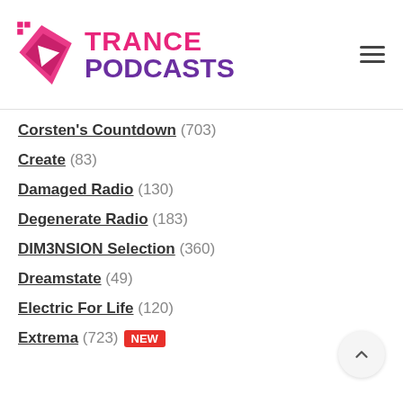[Figure (logo): Trance Podcasts logo with pink diamond/play button icon and text 'TRANCE PODCASTS' in pink and purple]
Corsten's Countdown (703)
Create (83)
Damaged Radio (130)
Degenerate Radio (183)
DIM3NSION Selection (360)
Dreamstate (49)
Electric For Life (120)
Extrema (723) NEW